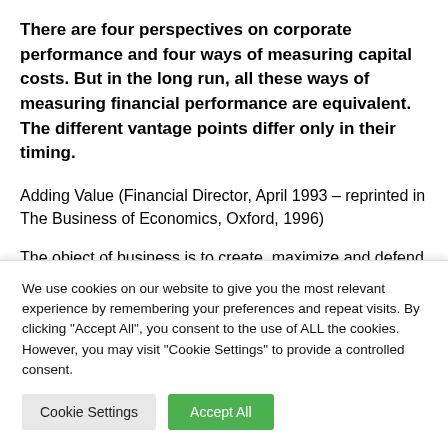There are four perspectives on corporate performance and four ways of measuring capital costs. But in the long run, all these ways of measuring financial performance are equivalent. The different vantage points differ only in their timing.
Adding Value (Financial Director, April 1993 – reprinted in The Business of Economics, Oxford, 1996)
The object of business is to create, maximize and defend
We use cookies on our website to give you the most relevant experience by remembering your preferences and repeat visits. By clicking "Accept All", you consent to the use of ALL the cookies. However, you may visit "Cookie Settings" to provide a controlled consent.